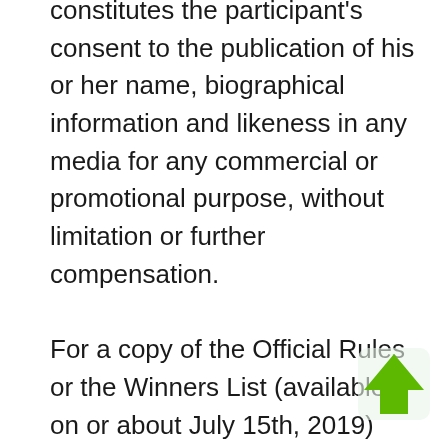constitutes the participant's consent to the publication of his or her name, biographical information and likeness in any media for any commercial or promotional purpose, without limitation or further compensation.

For a copy of the Official Rules or the Winners List (available on or about July 15th, 2019) send a self-addressed, stamped envelope (residents of VT need not include return postage on rules requests) to the following address (Please specify “Official Rules” or “Winners”) – “Crutchfield Bose
[Figure (illustration): Green upward-pointing arrow icon]